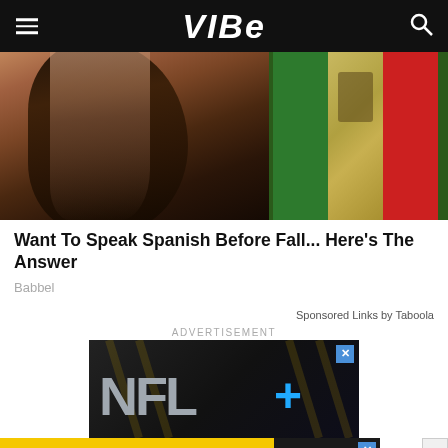VIBE
[Figure (photo): Woman with dark wavy hair against a Mexican flag background (green, white, red)]
Want To Speak Spanish Before Fall... Here's The Answer
Babbel
Sponsored Links by Taboola
ADVERTISEMENT
[Figure (screenshot): NFL+ advertisement with NFL logo in silver/gray text and a blue plus sign on dark background]
[Figure (screenshot): SPY advertisement: SPY-TESTED MASSAGE GUN NOW JUST $79 on yellow background with SPY logo]